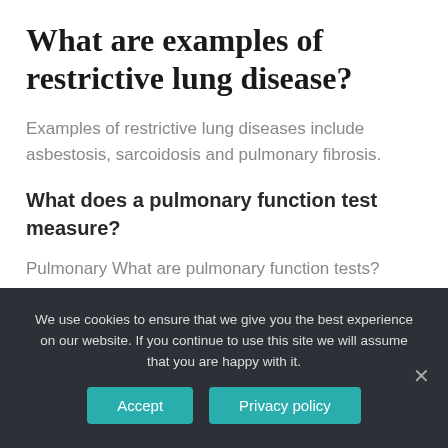What are examples of restrictive lung disease?
Examples of restrictive lung diseases include asbestosis, sarcoidosis and pulmonary fibrosis.
What does a pulmonary function test measure?
Pulmonary What are pulmonary function tests? Pulmonary function tests (PFTs) are
We use cookies to ensure that we give you the best experience on our website. If you continue to use this site we will assume that you are happy with it.